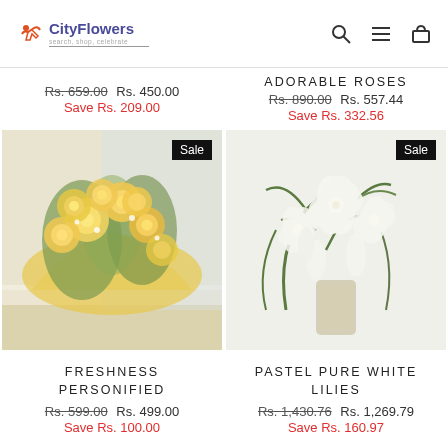CityFlowers - search, shop, celebrate
Rs. 659.00 Rs. 450.00 Save Rs. 209.00
ADORABLE ROSES Rs. 890.00 Rs. 557.44 Save Rs. 332.56
[Figure (photo): Bouquet of yellow roses with green foliage wrapped in yellow paper, placed on a table near a window. Sale badge in top right corner.]
FRESHNESS PERSONIFIED Rs. 599.00 Rs. 499.00 Save Rs. 100.00
[Figure (photo): White flower bouquet with lilies and green leaves tied with a ribbon. Sale badge in top right corner.]
PASTEL PURE WHITE LILIES Rs. 1,430.76 Rs. 1,269.79 Save Rs. 160.97